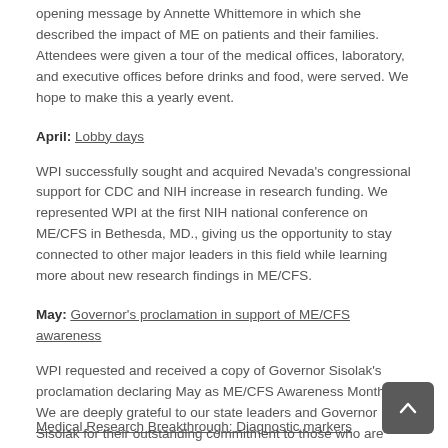opening message by Annette Whittemore in which she described the impact of ME on patients and their families. Attendees were given a tour of the medical offices, laboratory, and executive offices before drinks and food, were served. We hope to make this a yearly event.
April: Lobby days
WPI successfully sought and acquired Nevada’s congressional support for CDC and NIH increase in research funding. We represented WPI at the first NIH national conference on ME/CFS in Bethesda, MD., giving us the opportunity to stay connected to other major leaders in this field while learning more about new research findings in ME/CFS.
May: Governor’s proclamation in support of ME/CFS awareness
WPI requested and received a copy of Governor Sisolak’s proclamation declaring May as ME/CFS Awareness Month. We are deeply grateful to our state leaders and Governor Sisolak for their outstanding commitment to those who are impacted by complex neuroimmune diseases.
Medical Research Breakthrough: Diagnostic markers